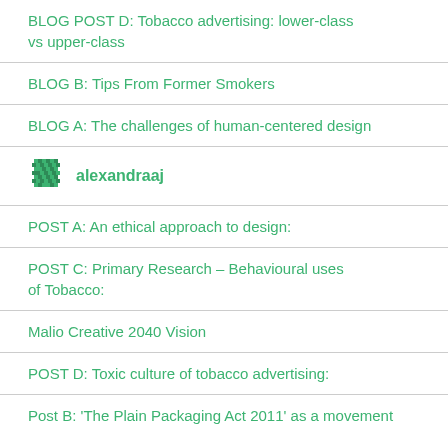BLOG POST D: Tobacco advertising: lower-class vs upper-class
BLOG B: Tips From Former Smokers
BLOG A: The challenges of human-centered design
[Figure (illustration): Green pixel/mosaic avatar icon for user alexandraaj]
POST A: An ethical approach to design:
POST C: Primary Research – Behavioural uses of Tobacco:
Malio Creative 2040 Vision
POST D: Toxic culture of tobacco advertising:
Post B: 'The Plain Packaging Act 2011' as a movement